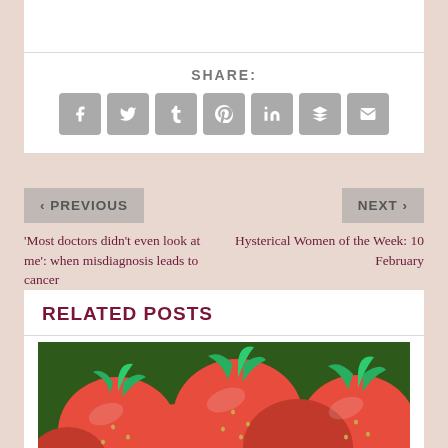SHARE:
[Figure (infographic): Row of social media share buttons: Facebook, Twitter, Tumblr, Pinterest, LinkedIn, Buffer/layers, Email]
< PREVIOUS
'Most doctors didn't even look at me': when misdiagnosis leads to cancer
NEXT >
Hysterical Women of the Week: 10 February
RELATED POSTS
[Figure (photo): Close-up photo of fresh red strawberries with green leaves]